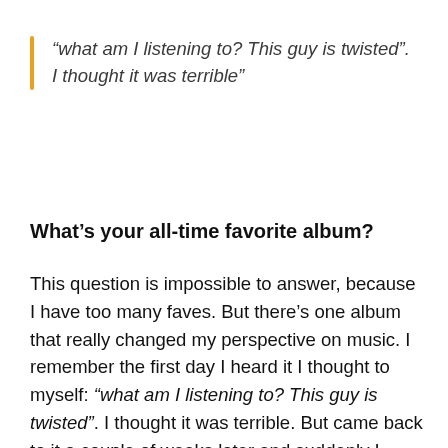“what am I listening to? This guy is twisted”. I thought it was terrible”
What’s your all-time favorite album?
This question is impossible to answer, because I have too many faves. But there’s one album that really changed my perspective on music. I remember the first day I heard it I thought to myself: “what am I listening to? This guy is twisted”. I thought it was terrible. But came back to it a couple of weeks later and suddenly I understood it and from that day on I had a completely different outlook on music. For me